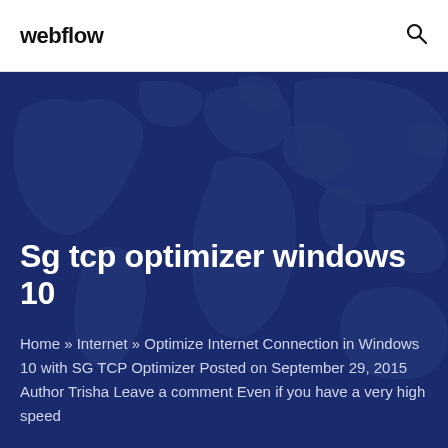webflow
Sg tcp optimizer windows 10
Home » Internet » Optimize Internet Connection in Windows 10 with SG TCP Optimizer Posted on September 29, 2015 Author Trisha Leave a comment Even if you have a very high speed